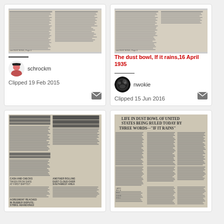[Figure (screenshot): Scanned newspaper clipping about dust bowl - top left card]
schrockm
Clipped 19 Feb 2015
[Figure (screenshot): Scanned newspaper clipping - The dust bowl, If it rains, 16 April 1935 - top right card]
The dust bowl, If it rains,16 April 1935
nwokie
Clipped 15 Jun 2016
[Figure (screenshot): Scanned newspaper clipping about dust cloud over southwest area - bottom left card]
[Figure (screenshot): Scanned newspaper clipping about life in dust bowl - bottom right card]